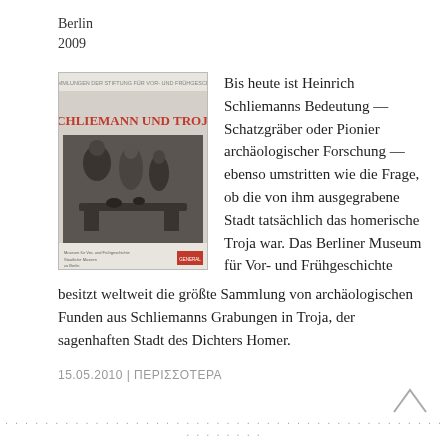Berlin
2009
[Figure (illustration): Book cover of 'Schliemann und Troja' with a black-and-white historical scene and red title text, published by the museum for prehistory and early history Berlin.]
Bis heute ist Heinrich Schliemanns Bedeutung — Schatzgräber oder Pionier archäologischer Forschung — ebenso umstritten wie die Frage, ob die von ihm ausgegrabene Stadt tatsächlich das homerische Troja war. Das Berliner Museum für Vor- und Frühgeschichte besitzt weltweit die größte Sammlung von archäologischen Funden aus Schliemanns Grabungen in Troja, der sagenhaften Stadt des Dichters Homer.
15.05.2010 | ΠΕΡΙΣΣΟΤΕΡΑ